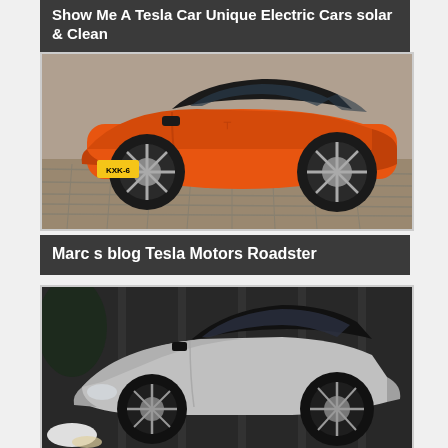Show Me A Tesla Car Unique Electric Cars solar & Clean
[Figure (photo): Orange Tesla Roadster sports car photographed from a slightly elevated front-three-quarter angle, parked on a brick/paver surface. License plate visible reading KXK-6.]
Marc s blog Tesla Motors Roadster
[Figure (photo): Silver/white Tesla Roadster sports car photographed from a front-three-quarter angle in a dark environment with visible light flare on the lower left.]